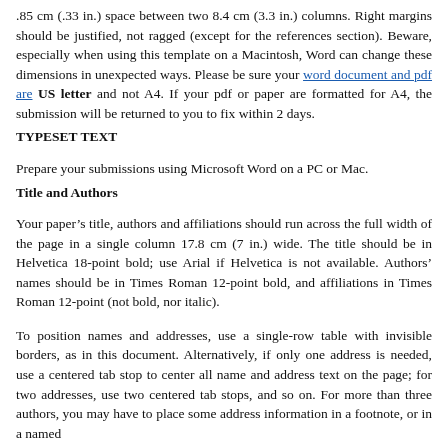.85 cm (.33 in.) space between two 8.4 cm (3.3 in.) columns. Right margins should be justified, not ragged (except for the references section). Beware, especially when using this template on a Macintosh, Word can change these dimensions in unexpected ways. Please be sure your word document and pdf are US letter and not A4. If your pdf or paper are formatted for A4, the submission will be returned to you to fix within 2 days.
TYPESET TEXT
Prepare your submissions using Microsoft Word on a PC or Mac.
Title and Authors
Your paper’s title, authors and affiliations should run across the full width of the page in a single column 17.8 cm (7 in.) wide. The title should be in Helvetica 18-point bold; use Arial if Helvetica is not available. Authors’ names should be in Times Roman 12-point bold, and affiliations in Times Roman 12-point (not bold, nor italic).
To position names and addresses, use a single-row table with invisible borders, as in this document. Alternatively, if only one address is needed, use a centered tab stop to center all name and address text on the page; for two addresses, use two centered tab stops, and so on. For more than three authors, you may have to place some address information in a footnote, or in a named section at the end of your paper. Please use full international addresses and telephone dialing prefixes.